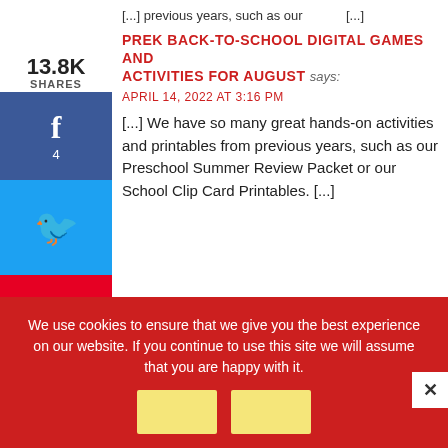[...]
PREK BACK-TO-SCHOOL DIGITAL GAMES AND ACTIVITIES FOR AUGUST says:
APRIL 14, 2022 AT 3:16 PM
[...] We have so many great hands-on activities and printables from previous years, such as our Preschool Summer Review Packet or our School Clip Card Printables. [...]
13.8K SHARES
f 4
Twitter
P 13.8K
We use cookies to ensure that we give you the best experience on our website. If you continue to use this site we will assume that you are happy with it.